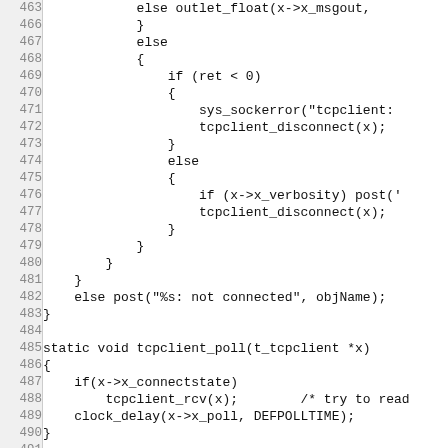[Figure (screenshot): Source code listing in monospace font with line numbers 463-494. Shows C code for tcpclient functions including conditional logic, tcpclient_poll, and tcpclient_new.]